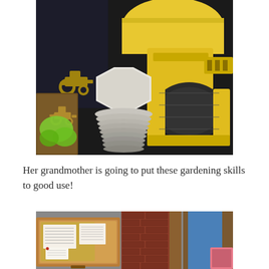[Figure (photo): Photo of yellow construction/gardening equipment with a white octagonal object (possibly a grinding stone), green gloves, and a dark background with a tractor silhouette.]
Her grandmother is going to put these gardening skills to good use!
[Figure (photo): Photo of wooden boxes/cases open on a surface, with papers/notes inside, next to a brick wall and wooden structures.]